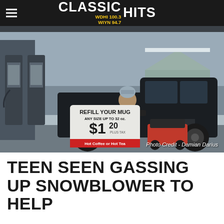CLASSIC HITS WDHI 100.3 WIYN 94.7
[Figure (photo): A teen at a gas station pumping gas into a snowblower next to a black Chevrolet Silverado pickup truck in winter. A sign reads 'REFILL YOUR MUG ANY SIZE UP TO 32 oz. $1.20 PLUS TAX Hot Coffee or Hot Tea'. A house is visible in the background with snow on the ground.]
Photo Credit - Damian Darius
TEEN SEEN GASSING UP SNOWBLOWER TO HELP